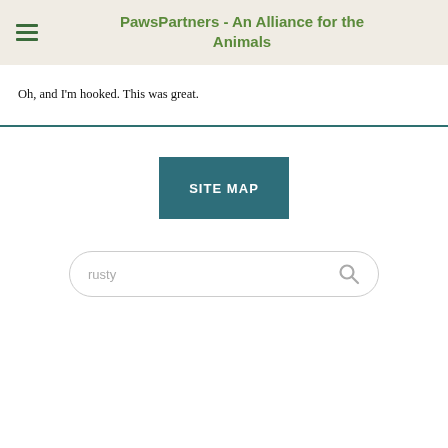PawsPartners - An Alliance for the Animals
Oh, and I'm hooked. This was great.
[Figure (other): SITE MAP button in dark teal color]
[Figure (other): Search bar with text 'rusty' and a search icon]